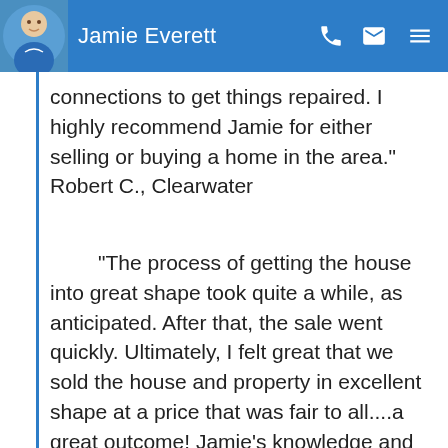Jamie Everett
connections to get things repaired. I highly recommend Jamie for either selling or buying a home in the area."  Robert C., Clearwater
"The process of getting the house into great shape took quite a while, as anticipated. After that, the sale went quickly. Ultimately, I felt great that we sold the house and property in excellent shape at a price that was fair to all....a great outcome! Jamie's knowledge and experience shows through in everything he does. He's a very likable guy with an inner serenity that comes with well-earned confidence. I entrusted him to make all decisions – not just about which contractors should do what work and when, but even for asthetics and details